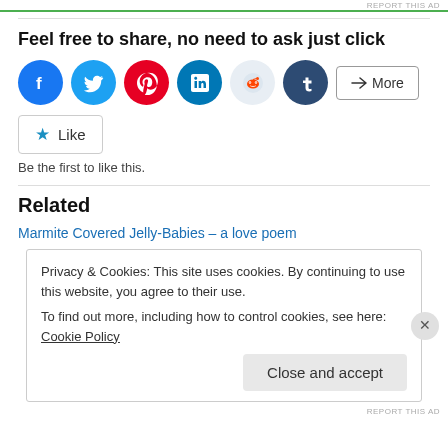REPORT THIS AD
Feel free to share, no need to ask just click
[Figure (illustration): Social share buttons: Facebook, Twitter, Pinterest, LinkedIn, Reddit, Tumblr circles, and a More button]
Like
Be the first to like this.
Related
Marmite Covered Jelly-Babies – a love poem
Privacy & Cookies: This site uses cookies. By continuing to use this website, you agree to their use.
To find out more, including how to control cookies, see here: Cookie Policy
Close and accept
REPORT THIS AD